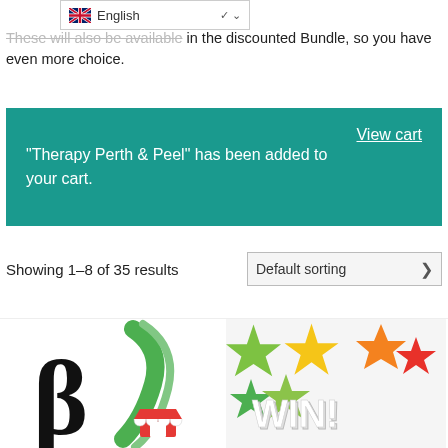English
These will also be available in the discounted Bundle, so you have even more choice.
"Therapy Perth & Peel" has been added to your cart.   View cart
Showing 1–8 of 35 results   Default sorting
[Figure (screenshot): Two product thumbnails: left shows a beta symbol logo with a green swoosh, right shows colorful 3D stars with 'WIN!' text]
[Figure (screenshot): Right product thumbnail with colorful 3D stars and WIN! text]